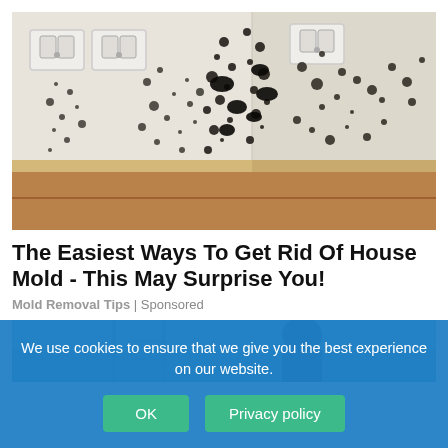[Figure (photo): Photo of black mold growing in the corner of a room, covering white walls with dark spots. Two electrical outlets visible on the left wall. Wood baseboard trim at the bottom.]
The Easiest Ways To Get Rid Of House Mold - This May Surprise You!
Mold Removal Tips | Sponsored
[Figure (photo): Partial photo of a person working outdoors, visible from roughly chest level, blue sky background.]
We use cookies to ensure that we give you the best experience on our website.